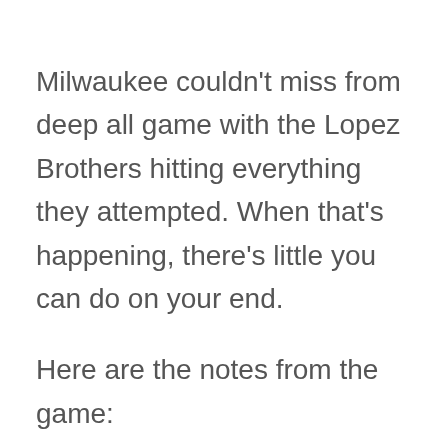Milwaukee couldn't miss from deep all game with the Lopez Brothers hitting everything they attempted. When that's happening, there's little you can do on your end.
Here are the notes from the game:
First Quarter:
Kent Bazemore had a play in the post early on. That's usually what you see with Harrison Barnes